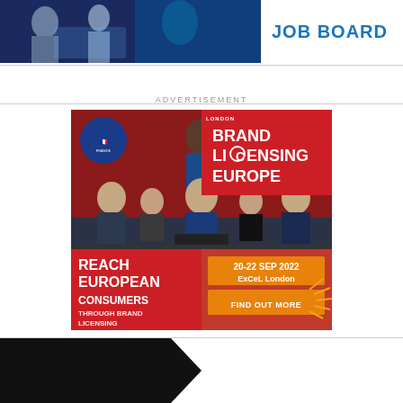[Figure (photo): Top banner with photo of people working and JOB BOARD text in blue on the right]
ADVERTISEMENT
[Figure (photo): Advertisement for London Brand Licensing Europe event. Shows people in a meeting with France branding. Text reads: REACH EUROPEAN CONSUMERS THROUGH BRAND LICENSING. 20-22 SEP 2022 ExCeL London. FIND OUT MORE.]
[Figure (photo): Black arrow banner at bottom of page]